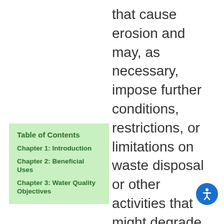that cause erosion and may, as necessary, impose further conditions, restrictions, or limitations on waste disposal or other activities that might degrade the quality of
Table of Contents
Chapter 1: Introduction
Chapter 2: Beneficial Uses
Chapter 3: Water Quality Objectives